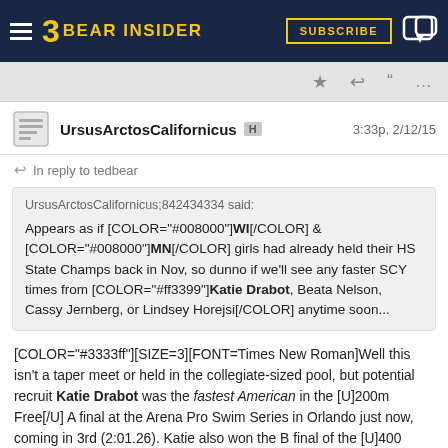Bear Insider — SUBSCRIBE
UrsusArctosCalifornicus H  3:33p, 2/12/15
In reply to tedbear
UrsusArctosCalifornicus;842434334 said:
Appears as if [COLOR="#008000"]WI[/COLOR] & [COLOR="#008000"]MN[/COLOR] girls had already held their HS State Champs back in Nov, so dunno if we'll see any faster SCY times from [COLOR="#ff3399"]Katie Drabot, Beata Nelson, Cassy Jernberg, or Lindsey Horejsi[/COLOR] anytime soon...
[COLOR="#3333ff"][SIZE=3][FONT=Times New Roman]Well this isn't a taper meet or held in the collegiate-sized pool, but potential recruit Katie Drabot was the fastest American in the [U]200m Free[/U] A final at the Arena Pro Swim Series in Orlando just now, coming in 3rd (2:01.26). Katie also won the B final of the [U]400 IM[/U] (4:50.44).

GBR's Hannah Miley (2:00.31) won the [U]200m Free[/U], with CDN's Samantha Cheverton (2:01.16) edging out Katie for the 2nd spot.